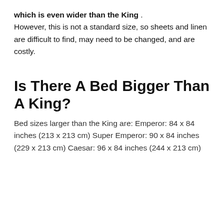which is even wider than the King . However, this is not a standard size, so sheets and linen are difficult to find, may need to be changed, and are costly.
Is There A Bed Bigger Than A King?
Bed sizes larger than the King are: Emperor: 84 x 84 inches (213 x 213 cm) Super Emperor: 90 x 84 inches (229 x 213 cm) Caesar: 96 x 84 inches (244 x 213 cm)